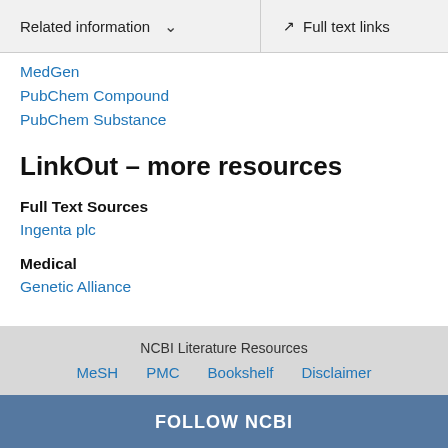Related information   ∨       Full text links
MedGen
PubChem Compound
PubChem Substance
LinkOut – more resources
Full Text Sources
Ingenta plc
Medical
Genetic Alliance
NCBI Literature Resources  MeSH  PMC  Bookshelf  Disclaimer
FOLLOW NCBI